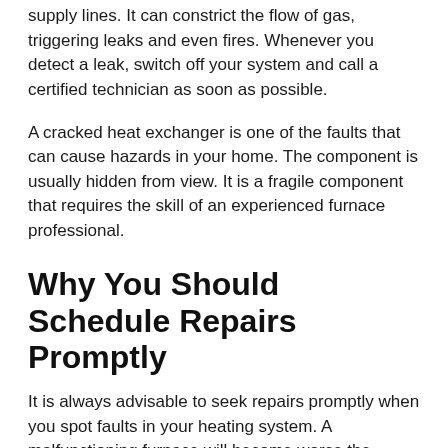supply lines. It can constrict the flow of gas, triggering leaks and even fires. Whenever you detect a leak, switch off your system and call a certified technician as soon as possible.
A cracked heat exchanger is one of the faults that can cause hazards in your home. The component is usually hidden from view. It is a fragile component that requires the skill of an experienced furnace professional.
Why You Should Schedule Repairs Promptly
It is always advisable to seek repairs promptly when you spot faults in your heating system. A malfunctioning furnace will become worse the longer you wait before servicing your equipment.
Rusting can cause extensive damage to your furnace within a relatively short time. Your furnace will draw a lot more energy from the system as it tries to keep up with the household's demand.
An inefficient system will increase your utility bills and shorten the life span of your equipment. Fixing your equipment on time prevents further complications in the future.